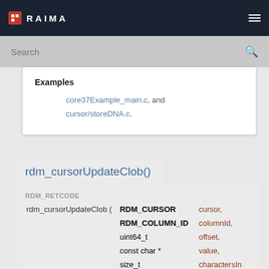RAIMA
Search
Examples
core37Example_main.c, and cursor/storeDNA.c.
rdm_cursorUpdateClob()
RDM_RETCODE rdm_cursorUpdateClob ( RDM_CURSOR cursor, RDM_COLUMN_ID columnId, uint64_t offset, const char * value, size_t charactersIn )